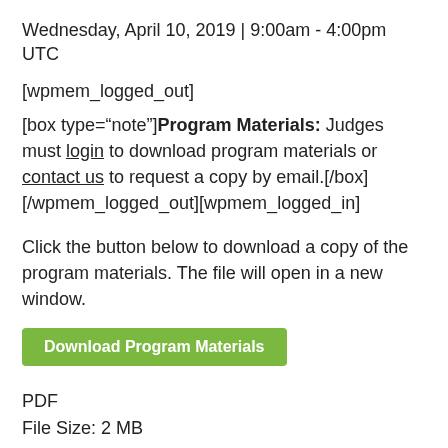Wednesday, April 10, 2019 | 9:00am - 4:00pm UTC
[wpmem_logged_out]
[box type="note"]Program Materials: Judges must login to download program materials or contact us to request a copy by email.[/box] [/wpmem_logged_out][wpmem_logged_in]
Click the button below to download a copy of the program materials. The file will open in a new window.
Download Program Materials
PDF
File Size: 2 MB